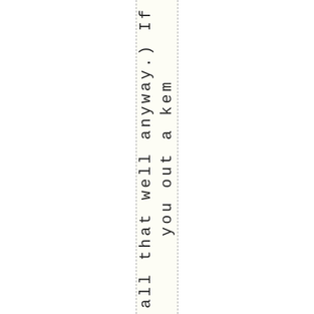all that well anyway.) If you out a kem